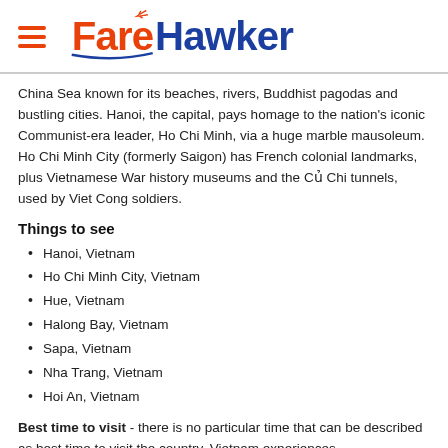[Figure (logo): FareHawker logo with hamburger menu icon. Logo text shows 'Fare' in orange and 'Hawker' in blue with airplane icon.]
China Sea known for its beaches, rivers, Buddhist pagodas and bustling cities. Hanoi, the capital, pays homage to the nation's iconic Communist-era leader, Ho Chi Minh, via a huge marble mausoleum. Ho Chi Minh City (formerly Saigon) has French colonial landmarks, plus Vietnamese War history museums and the Củ Chi tunnels, used by Viet Cong soldiers.
Things to see
Hanoi, Vietnam
Ho Chi Minh City, Vietnam
Hue, Vietnam
Halong Bay, Vietnam
Sapa, Vietnam
Nha Trang, Vietnam
Hoi An, Vietnam
Best time to visit - there is no particular time that can be described as best time to visit the country. Vietnam experiences